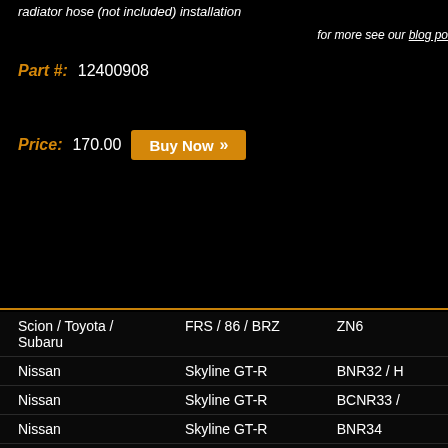radiator hose (not included) installation
for more see our blog po
Part #: 12400908
Price: 170.00
| Make | Model | Code |
| --- | --- | --- |
| Scion / Toyota / Subaru | FRS / 86 / BRZ | ZN6 |
| Nissan | Skyline GT-R | BNR32 / H |
| Nissan | Skyline GT-R | BCNR33 / |
| Nissan | Skyline GT-R | BNR34 |
| Nissan | Silvia / 180SX | S13 |